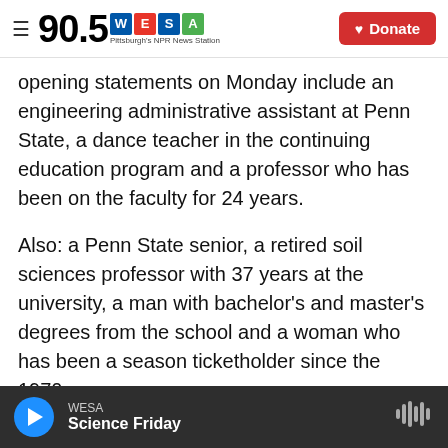90.5 WESA Pittsburgh's NPR News Station | Donate
opening statements on Monday include an engineering administrative assistant at Penn State, a dance teacher in the continuing education program and a professor who has been on the faculty for 24 years.
Also: a Penn State senior, a retired soil sciences professor with 37 years at the university, a man with bachelor's and master's degrees from the school and a woman who has been a season ticketholder since the 1970s.
Sandusky, a 68-year-old former assistant football
WESA | Science Friday